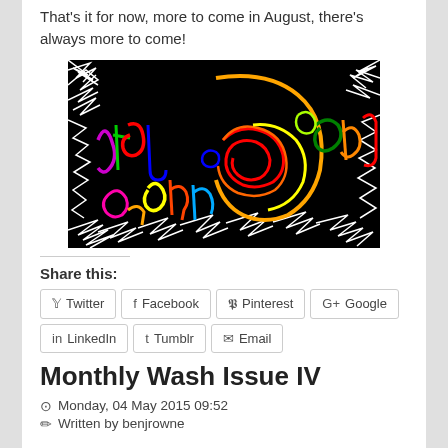That's it for now, more to come in August, there's always more to come!
[Figure (illustration): Colorful neon-style hand-drawn artwork on a black background with white scribble borders. Bright rainbow-colored graffiti-style lettering and abstract swirls.]
Share this:
Twitter | Facebook | Pinterest | Google | LinkedIn | Tumblr | Email
Monthly Wash Issue IV
Monday, 04 May 2015 09:52
Written by benjrowne